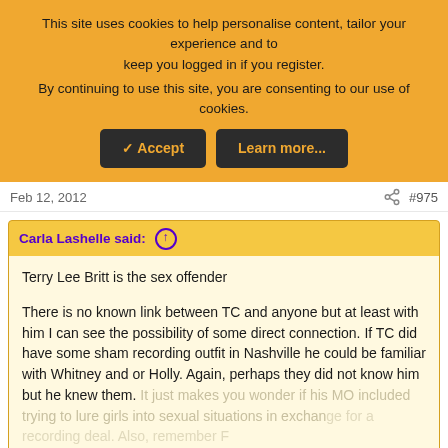This site uses cookies to help personalise content, tailor your experience and to keep you logged in if you register. By continuing to use this site, you are consenting to our use of cookies.
✓ Accept | Learn more...
Feb 12, 2012
#975
Carla Lashelle said: ↑
Terry Lee Britt is the sex offender

There is no known link between TC and anyone but at least with him I can see the possibility of some direct connection. If TC did have some sham recording outfit in Nashville he could be familiar with Whitney and or Holly. Again, perhaps they did not know him but he knew them. It just makes you wonder if his MO included trying to lure girls into sexual situations in exchange for a recording deal. Also, remember F
Click to expand...